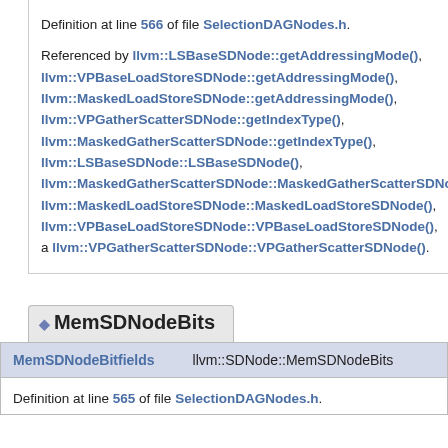Definition at line 566 of file SelectionDAGNodes.h.

Referenced by llvm::LSBaseSDNode::getAddressingMode(), llvm::VPBaseLoadStoreSDNode::getAddressingMode(), llvm::MaskedLoadStoreSDNode::getAddressingMode(), llvm::VPGatherScatterSDNode::getIndexType(), llvm::MaskedGatherScatterSDNode::getIndexType(), llvm::LSBaseSDNode::LSBaseSDNode(), llvm::MaskedGatherScatterSDNode::MaskedGatherScatterSDNo llvm::MaskedLoadStoreSDNode::MaskedLoadStoreSDNode(), llvm::VPBaseLoadStoreSDNode::VPBaseLoadStoreSDNode(), a llvm::VPGatherScatterSDNode::VPGatherScatterSDNode().
◆ MemSDNodeBits
|  |  |
| --- | --- |
| MemSDNodeBitfields | llvm::SDNode::MemSDNodeBits |
Definition at line 565 of file SelectionDAGNodes.h.